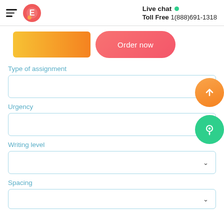Live chat   Toll Free 1(888)691-1318
[Figure (screenshot): Orange gradient button and pink/red 'Order now' rounded button]
Type of assignment
[Figure (screenshot): Dropdown box for Type of assignment with chevron and orange floating up-arrow button]
Urgency
[Figure (screenshot): Dropdown box for Urgency with teal floating chat/location button]
Writing level
[Figure (screenshot): Dropdown box for Writing level with chevron]
Spacing
[Figure (screenshot): Dropdown box for Spacing with chevron (partially visible)]